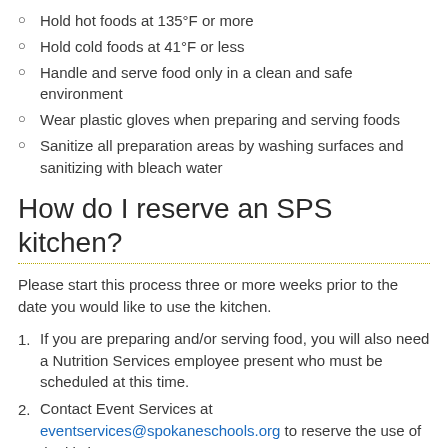Hold hot foods at 135°F or more
Hold cold foods at 41°F or less
Handle and serve food only in a clean and safe environment
Wear plastic gloves when preparing and serving foods
Sanitize all preparation areas by washing surfaces and sanitizing with bleach water
How do I reserve an SPS kitchen?
Please start this process three or more weeks prior to the date you would like to use the kitchen.
If you are preparing and/or serving food, you will also need a Nutrition Services employee present who must be scheduled at this time.
Contact Event Services at eventservices@spokaneschools.org to reserve the use of the kitchen.